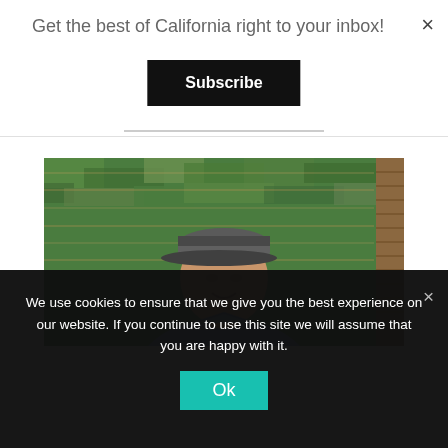Get the best of California right to your inbox!
Subscribe
[Figure (photo): Man wearing a baseball cap and blue plaid shirt seated in front of wooden slat background with green foliage]
We use cookies to ensure that we give you the best experience on our website. If you continue to use this site we will assume that you are happy with it.
Ok